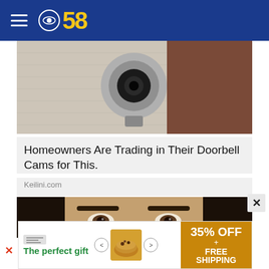CBS 58
[Figure (photo): Close-up photo of a doorbell camera mounted on a wall]
Homeowners Are Trading in Their Doorbell Cams for This.
Keilini.com
[Figure (photo): Close-up of a woman's face with dark hair and dark eyes]
[Figure (infographic): Advertisement banner: The perfect gift - 35% OFF + FREE SHIPPING]